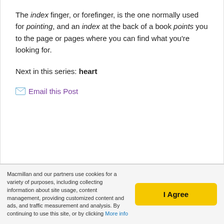The index finger, or forefinger, is the one normally used for pointing, and an index at the back of a book points you to the page or pages where you can find what you're looking for.
Next in this series: heart
Email this Post
Macmillan and our partners use cookies for a variety of purposes, including collecting information about site usage, content management, providing customized content and ads, and traffic measurement and analysis. By continuing to use this site, or by clicking More info